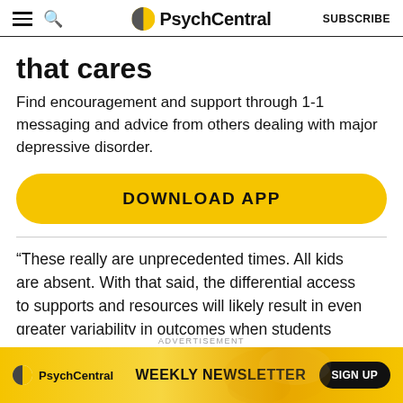PsychCentral | SUBSCRIBE
that cares
Find encouragement and support through 1-1 messaging and advice from others dealing with major depressive disorder.
[Figure (other): Yellow rounded button labeled DOWNLOAD APP]
“These really are unprecedented times. All kids are absent. With that said, the differential access to supports and resources will likely result in even greater variability in outcomes when students return to
[Figure (other): PsychCentral advertisement banner: WEEKLY NEWSLETTER with SIGN UP button]